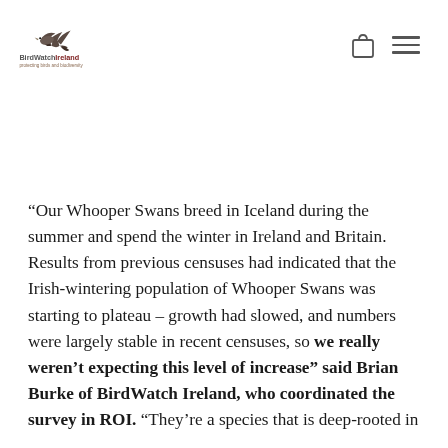BirdWatch Ireland — protecting birds and biodiversity [logo + nav icons]
“Our Whooper Swans breed in Iceland during the summer and spend the winter in Ireland and Britain. Results from previous censuses had indicated that the Irish-wintering population of Whooper Swans was starting to plateau – growth had slowed, and numbers were largely stable in recent censuses, so we really weren’t expecting this level of increase” said Brian Burke of BirdWatch Ireland, who coordinated the survey in ROI. “They’re a species that is deep-rooted in